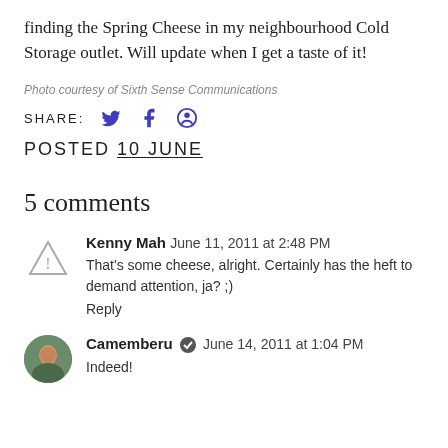finding the Spring Cheese in my neighbourhood Cold Storage outlet. Will update when I get a taste of it!
Photo courtesy of Sixth Sense Communications
SHARE:
POSTED 10 JUNE
5 comments
Kenny Mah  June 11, 2011 at 2:48 PM
That's some cheese, alright. Certainly has the heft to demand attention, ja? ;)
Reply
Camemberu  June 14, 2011 at 1:04 PM
Indeed!